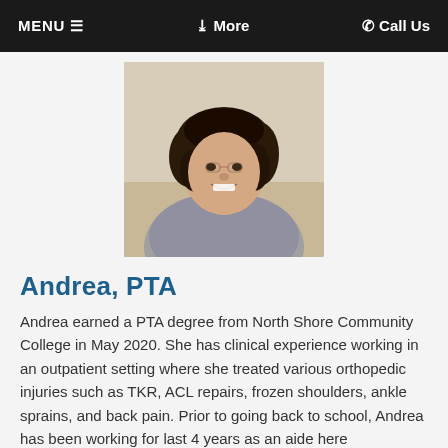MENU ≡   ❯ More   ☎ Call Us
[Figure (photo): Portrait photo of Andrea, a woman with dark curly hair, smiling, wearing a grey sweater with a white collar, photographed indoors against a light background.]
Andrea, PTA
Andrea earned a PTA degree from North Shore Community College in May 2020. She has clinical experience working in an outpatient setting where she treated various orthopedic injuries such as TKR, ACL repairs, frozen shoulders, ankle sprains, and back pain. Prior to going back to school, Andrea has been working for last 4 years as an aide here